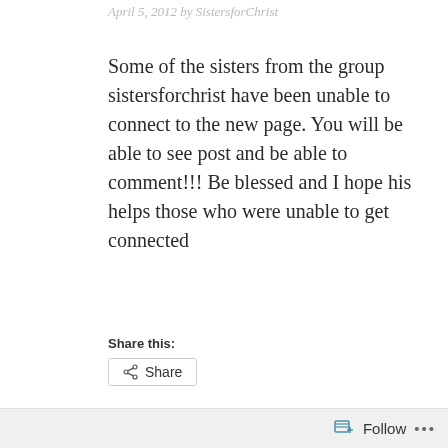April 5, 2012 by SistersforChrist
Some of the sisters from the group sistersforchrist have been unable to connect to the new page. You will be able to see post and be able to comment!!! Be blessed and I hope his helps those who were unable to get connected
Share this:
[Figure (other): Share button with share icon]
Loading...
Follow ...